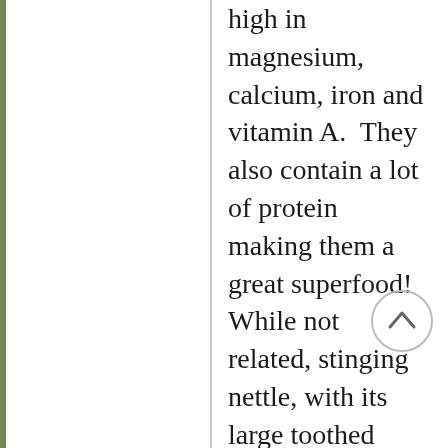high in magnesium, calcium, iron and vitamin A.  They also contain a lot of protein making them a great superfood! While not related, stinging nettle, with its large toothed leaves, looks very much like large leaf mint. However, characteristically they are very different.  The stems and leaves of this nettle contain short microscopic hairs that irritate the skin when touched. For this reason, it's important to